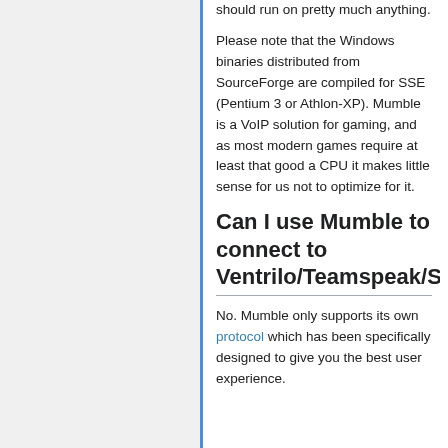should run on pretty much anything.
Please note that the Windows binaries distributed from SourceForge are compiled for SSE (Pentium 3 or Athlon-XP). Mumble is a VoIP solution for gaming, and as most modern games require at least that good a CPU it makes little sense for us not to optimize for it.
Can I use Mumble to connect to Ventrilo/Teamspeak/Sky
No. Mumble only supports its own protocol which has been specifically designed to give you the best user experience.